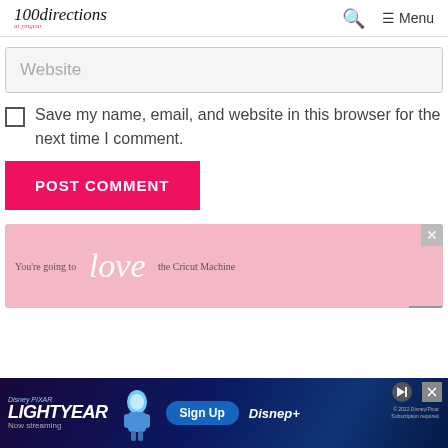100directions — Menu
Website
Save my name, email, and website in this browser for the next time I comment.
POST COMMENT
[Figure (illustration): Pink banner ad: 'You're going to love the Cricut Machine' with decorative script lettering and colorful markers at the bottom left.]
[Figure (illustration): Disney Pixar Lightyear streaming advertisement banner with Buzz Lightyear character, Sign Up button, Disney+ logo, and disclaimer text.]